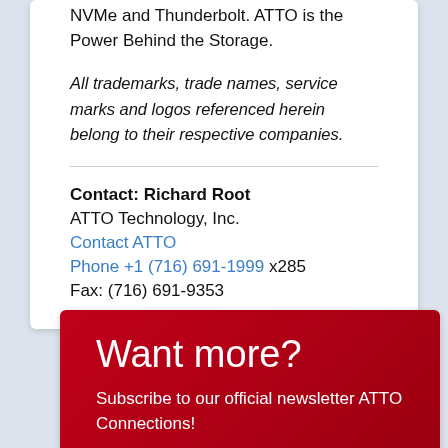NVMe and Thunderbolt. ATTO is the Power Behind the Storage.
All trademarks, trade names, service marks and logos referenced herein belong to their respective companies.
Contact: Richard Root
ATTO Technology, Inc.
Contact ATTO
Phone +1 (716) 691-1999 x285
Fax: (716) 691-9353
Want more?
Subscribe to our official newsletter ATTO Connections!